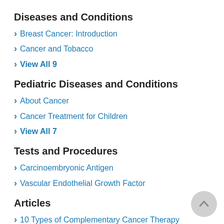Diseases and Conditions
Breast Cancer: Introduction
Cancer and Tobacco
View All 9
Pediatric Diseases and Conditions
About Cancer
Cancer Treatment for Children
View All 7
Tests and Procedures
Carcinoembryonic Antigen
Vascular Endothelial Growth Factor
Articles
10 Types of Complementary Cancer Therapy
Binge Drinking Dangers for Young People
View All 59